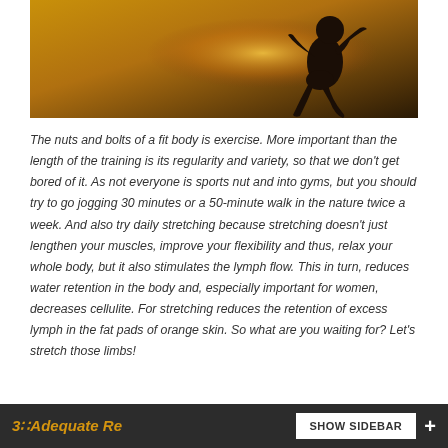[Figure (photo): Silhouette of a person running/jogging against a warm golden-orange sunset background]
The nuts and bolts of a fit body is exercise. More important than the length of the training is its regularity and variety, so that we don't get bored of it. As not everyone is sports nut and into gyms, but you should try to go jogging 30 minutes or a 50-minute walk in the nature twice a week. And also try daily stretching because stretching doesn't just lengthen your muscles, improve your flexibility and thus, relax your whole body, but it also stimulates the lymph flow. This in turn, reduces water retention in the body and, especially important for women, decreases cellulite. For stretching reduces the retention of excess lymph in the fat pads of orange skin. So what are you waiting for? Let's stretch those limbs!
3  Adequate Re   SHOW SIDEBAR +